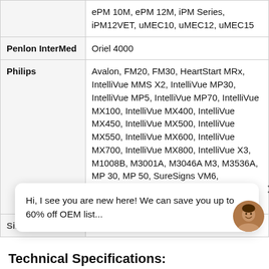| Manufacturer | Compatible Models |
| --- | --- |
|  | ePM 10M, ePM 12M, iPM Series, iPM12VET, uMEC10, uMEC12, uMEC15 |
| Penlon InterMed | Oriel 4000 |
| Philips | Avalon, FM20, FM30, HeartStart MRx, IntelliVue MMS X2, IntelliVue MP30, IntelliVue MP5, IntelliVue MP70, IntelliVue MX100, IntelliVue MX400, IntelliVue MX450, IntelliVue MX500, IntelliVue MX550, IntelliVue MX600, IntelliVue MX700, IntelliVue MX800, IntelliVue X3, M1008B, M3001A, M3046A M3, M3536A, MP 30, MP 50, SureSigns VM6, SureSigns VS2, SureSigns VS2+, SureSigns VS3, SureSigns VS4, VM4 |
| Sinchere | AcuitSign M6 |
Hi, I see you are new here! We can save you up to 60% off OEM list...
Technical Specifications: